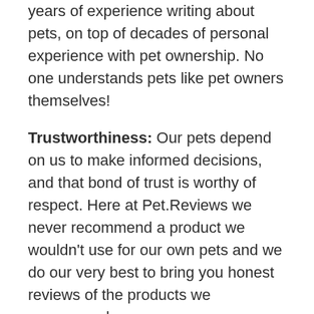years of experience writing about pets, on top of decades of personal experience with pet ownership. No one understands pets like pet owners themselves!
Trustworthiness: Our pets depend on us to make informed decisions, and that bond of trust is worthy of respect. Here at Pet.Reviews we never recommend a product we wouldn't use for our own pets and we do our very best to bring you honest reviews of the products we recommend.
Thanks for stopping in, we hope you found what you were looking for!